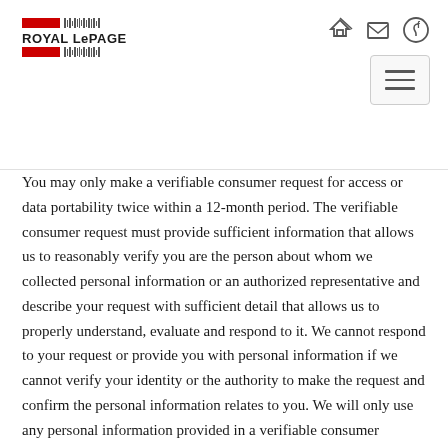Royal LePage — navigation header with logo and icons
You may only make a verifiable consumer request for access or data portability twice within a 12-month period. The verifiable consumer request must provide sufficient information that allows us to reasonably verify you are the person about whom we collected personal information or an authorized representative and describe your request with sufficient detail that allows us to properly understand, evaluate and respond to it. We cannot respond to your request or provide you with personal information if we cannot verify your identity or the authority to make the request and confirm the personal information relates to you. We will only use any personal information provided in a verifiable consumer request to verify the requestor's identity or authority to make the request. Making a verifiable request does not require you to create an account with us. We will never provide your social security number, credit card